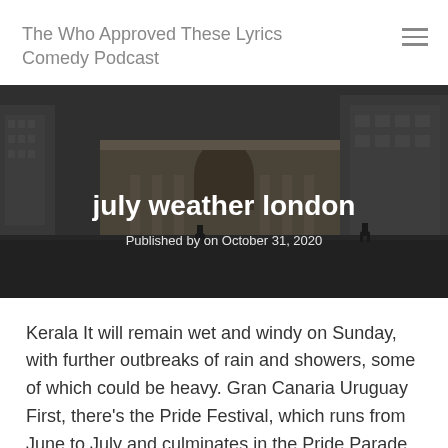The Who Approved These Lyrics Comedy Podcast
[Figure (photo): Outdoor urban plaza with a classical pavilion/colonnade building in the background, surrounded by modern city buildings. People walking on wet pavement on an overcast day. Dark, moody atmosphere. Overlaid text reads 'july weather london' and 'Published by on October 31, 2020'.]
july weather london
Published by on October 31, 2020
Kerala It will remain wet and windy on Sunday, with further outbreaks of rain and showers, some of which could be heavy. Gran Canaria Uruguay First, there's the Pride Festival, which runs from June to July and culminates in the Pride Parade on the first Saturday of July. Lesotho UK